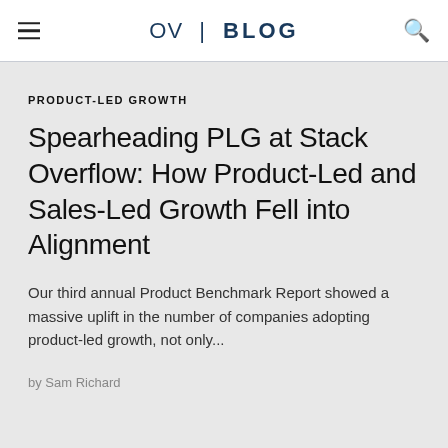OV | BLOG
PRODUCT-LED GROWTH
Spearheading PLG at Stack Overflow: How Product-Led and Sales-Led Growth Fell into Alignment
Our third annual Product Benchmark Report showed a massive uplift in the number of companies adopting product-led growth, not only...
by Sam Richard